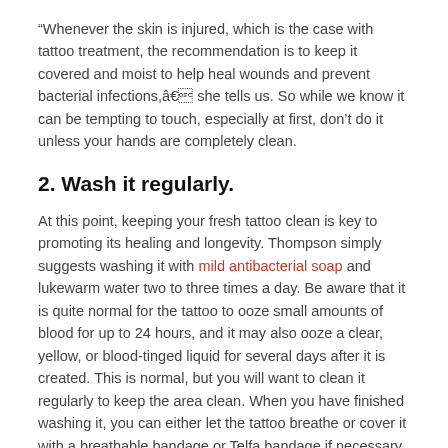“Whenever the skin is injured, which is the case with tattoo treatment, the recommendation is to keep it covered and moist to help heal wounds and prevent bacterial infections,â€ she tells us. So while we know it can be tempting to touch, especially at first, don’t do it unless your hands are completely clean.
2. Wash it regularly.
At this point, keeping your fresh tattoo clean is key to promoting its healing and longevity. Thompson simply suggests washing it with mild antibacterial soap and lukewarm water two to three times a day. Be aware that it is quite normal for the tattoo to ooze small amounts of blood for up to 24 hours, and it may also ooze a clear, yellow, or blood-tinged liquid for several days after it is created. This is normal, but you will want to clean it regularly to keep the area clean. When you have finished washing it, you can either let the tattoo breathe or cover it with a breathable bandage or Telfa bandage if necessary.